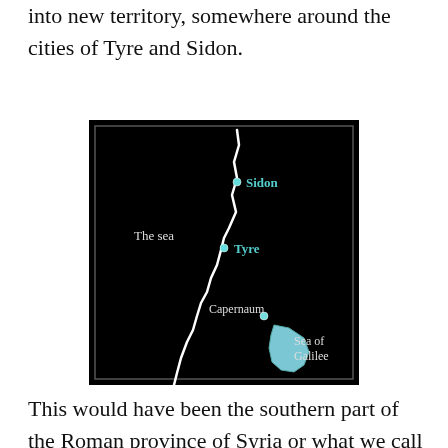into new territory, somewhere around the cities of Tyre and Sidon.
[Figure (map): A black-background map showing the eastern Mediterranean coastline with labeled cities: Sidon (upper right, green label), Tyre (middle left of coast, green label), Capernaum (lower middle, white label), and the Sea of Galilee (blue body of water, lower right). The white coastline runs roughly north-south. 'The sea' is labeled in white to the left.]
This would have been the southern part of the Roman province of Syria or what we call today Lebanon (ancient